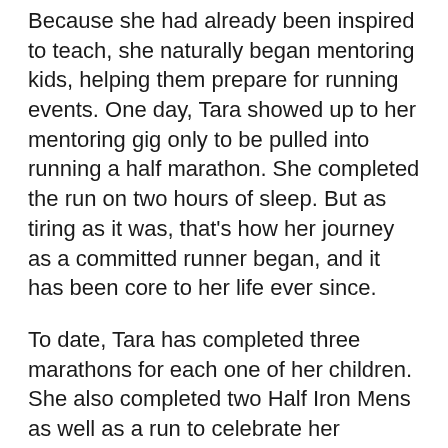Because she had already been inspired to teach, she naturally began mentoring kids, helping them prepare for running events. One day, Tara showed up to her mentoring gig only to be pulled into running a half marathon. She completed the run on two hours of sleep. But as tiring as it was, that's how her journey as a committed runner began, and it has been core to her life ever since.
To date, Tara has completed three marathons for each one of her children. She also completed two Half Iron Mens as well as a run to celebrate her cousin's 30th anniversary.
During the Halloween of 2019, Tara learned more about basic human rights and her